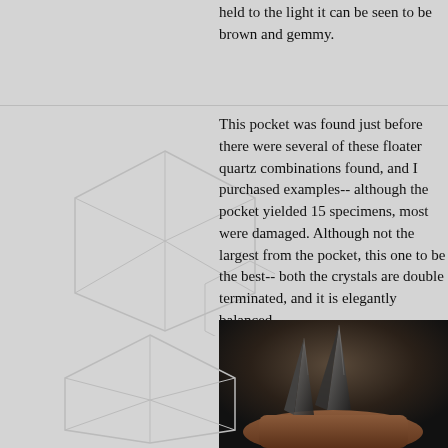held to the light it can be seen to be brown and gemmy.
This pocket was found just before there were several of these floater quartz combinations found, and I purchased examples-- although the pocket yielded 15 specimens, most were damaged. Although not the largest from the pocket, this one to be the best-- both the crystals are double terminated, and it is elegantly balanced.
[Figure (photo): Photograph of a mineral specimen, likely a dark smoky quartz crystal with pointed terminations sitting on a reddish-brown matrix, photographed against a dark background.]